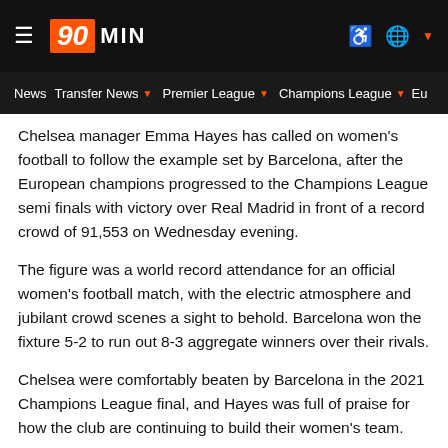90MIN navigation header
News | Transfer News | Premier League | Champions League | Eu...
Chelsea manager Emma Hayes has called on women's football to follow the example set by Barcelona, after the European champions progressed to the Champions League semi finals with victory over Real Madrid in front of a record crowd of 91,553 on Wednesday evening.
The figure was a world record attendance for an official women's football match, with the electric atmosphere and jubilant crowd scenes a sight to behold. Barcelona won the fixture 5-2 to run out 8-3 aggregate winners over their rivals.
Chelsea were comfortably beaten by Barcelona in the 2021 Champions League final, and Hayes was full of praise for how the club are continuing to build their women's team.
"The crowd were amazing," Hayes said. "It's of no surprise to